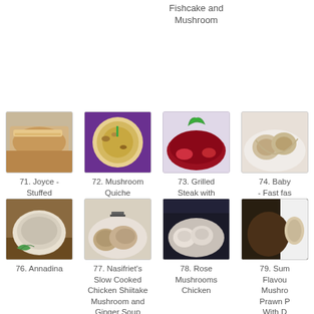Fishcake and Mushroom
71. Joyce - Stuffed Mushroom and Garlic Baguette
[Figure (photo): Photo of stuffed mushroom and garlic baguette bread]
72. Mushroom Quiche
[Figure (photo): Photo of mushroom quiche in a round dish]
73. Grilled Steak with Tomatoes, Onion and Portobello Mushrooms
[Figure (photo): Photo of grilled steak with tomatoes, onion and portobello mushrooms]
74. Baby - Fast fas
[Figure (photo): Photo of a dish (partially cropped)]
76. Annadina
[Figure (photo): Photo of Annadina's mushroom dish in a bowl]
77. Nasifriet's Slow Cooked Chicken Shiitake Mushroom and Ginger Soup
[Figure (photo): Photo of slow cooked chicken shiitake mushroom and ginger soup]
78. Rose Mushrooms Chicken
[Figure (photo): Photo of rose mushrooms chicken dish]
79. Sum Flavou Mushro Prawn P With D Sau